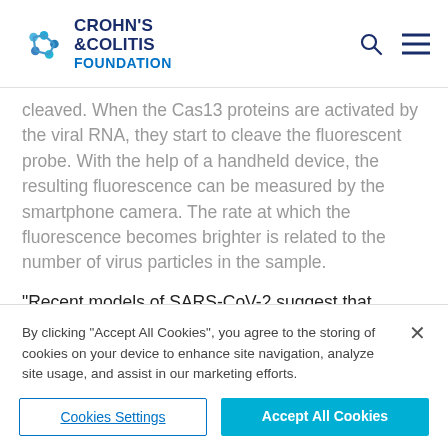Crohn's & Colitis Foundation
cleaved. When the Cas13 proteins are activated by the viral RNA, they start to cleave the fluorescent probe. With the help of a handheld device, the resulting fluorescence can be measured by the smartphone camera. The rate at which the fluorescence becomes brighter is related to the number of virus particles in the sample.
“Recent models of SARS-CoV-2 suggest that frequent testing with a fast turnaround time is what we need to overcome the current pandemic,” Ott said. “We hope
By clicking “Accept All Cookies”, you agree to the storing of cookies on your device to enhance site navigation, analyze site usage, and assist in our marketing efforts.